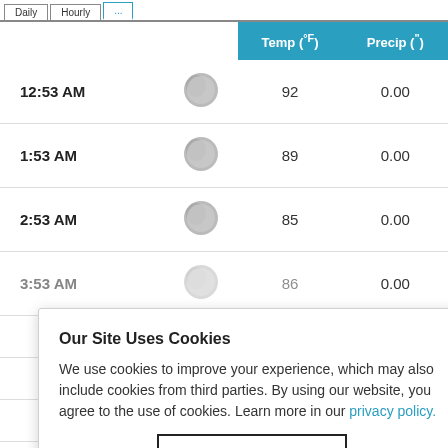|  |  | Temp (°F) | Precip (") |
| --- | --- | --- | --- |
| 12:53 AM | [moon icon] | 92 | 0.00 |
| 1:53 AM | [moon icon] | 89 | 0.00 |
| 2:53 AM | [moon icon] | 85 | 0.00 |
| 3:53 AM | [moon icon] | 86 | 0.00 |
|  |  |  | 0.00 |
|  |  |  | 0.00 |
|  |  |  | 0.00 |
|  | [sun icon] | 91 | 0.00 |
Our Site Uses Cookies
We use cookies to improve your experience, which may also include cookies from third parties. By using our website, you agree to the use of cookies. Learn more in our privacy policy.
ACCEPT & CLOSE